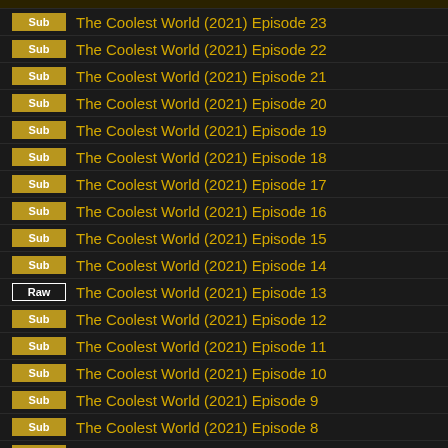Sub — The Coolest World (2021) Episode 23
Sub — The Coolest World (2021) Episode 22
Sub — The Coolest World (2021) Episode 21
Sub — The Coolest World (2021) Episode 20
Sub — The Coolest World (2021) Episode 19
Sub — The Coolest World (2021) Episode 18
Sub — The Coolest World (2021) Episode 17
Sub — The Coolest World (2021) Episode 16
Sub — The Coolest World (2021) Episode 15
Sub — The Coolest World (2021) Episode 14
Raw — The Coolest World (2021) Episode 13
Sub — The Coolest World (2021) Episode 12
Sub — The Coolest World (2021) Episode 11
Sub — The Coolest World (2021) Episode 10
Sub — The Coolest World (2021) Episode 9
Sub — The Coolest World (2021) Episode 8